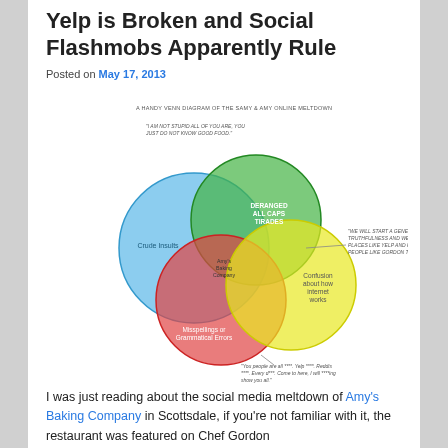Yelp is Broken and Social Flashmobs Apparently Rule
Posted on May 17, 2013
[Figure (infographic): A Venn diagram titled 'A HANDY VENN DIAGRAM OF THE SAMY & AMY ONLINE MELTDOWN' with three overlapping circles: blue (Crude Insults), green (Deranged All Caps Tirades), red/pink (Misspellings or Grammatical Errors), and yellow (Confusion about how internet works). The center overlap is labeled Amy's Baking Company. Various quotes are annotated around the diagram.]
I was just reading about the social media meltdown of Amy's Baking Company in Scottsdale, if you're not familiar with it, the restaurant was featured on Chef Gordon